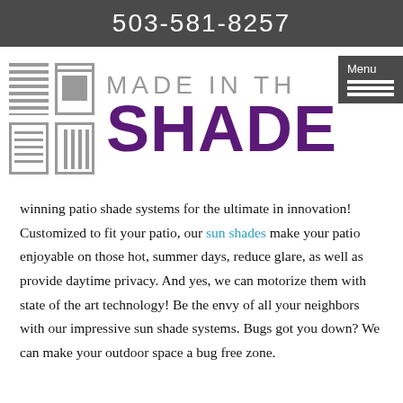503-581-8257
[Figure (logo): Made in the Shade logo with blind/shade icons on the left and stylized text on the right, plus a Menu button overlay]
winning patio shade systems for the ultimate in innovation! Customized to fit your patio, our sun shades make your patio enjoyable on those hot, summer days, reduce glare, as well as provide daytime privacy. And yes, we can motorize them with state of the art technology! Be the envy of all your neighbors with our impressive sun shade systems. Bugs got you down? We can make your outdoor space a bug free zone.